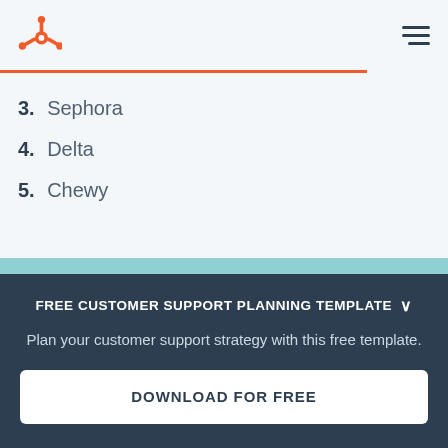HubSpot logo and navigation menu
3. Sephora
4. Delta
5. Chewy
FREE CUSTOMER SUPPORT PLANNING TEMPLATE
Plan your customer support strategy with this free template.
DOWNLOAD FOR FREE